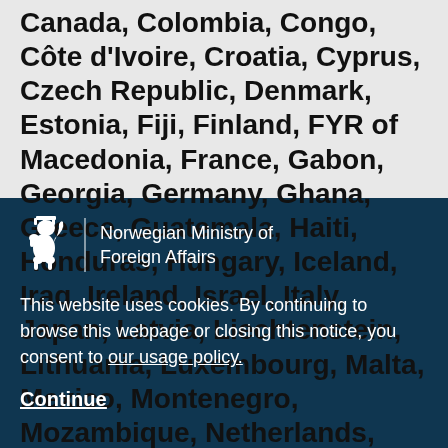Canada, Colombia, Congo, Côte d'Ivoire, Croatia, Cyprus, Czech Republic, Denmark, Estonia, Fiji, Finland, FYR of Macedonia, France, Gabon, Georgia, Germany, Ghana, Greece, Guatemala, Haiti, Honduras, Hungary, Iceland, Iraq, Ireland, Israel, Italy, Japan, Latvia, Liechtenstein, Lithuania, Luxembourg, Malta, Mexico, Montenegro, Mozambique, Netherlands, New Zealand, Niger, Norway, Panama,
[Figure (logo): Norwegian Ministry of Foreign Affairs logo — a lion rampant crest in white, with a vertical divider line and the text 'Norwegian Ministry of Foreign Affairs' to the right]
This website uses cookies. By continuing to browse this webpage or closing this notice, you consent to our usage policy.
Continue